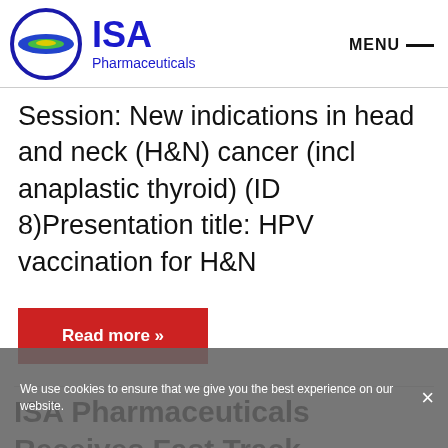[Figure (logo): ISA Pharmaceuticals logo with circular blue and green emblem and blue text 'ISA Pharmaceuticals']
Session: New indications in head and neck (H&N) cancer (incl anaplastic thyroid) (ID 8)Presentation title: HPV vaccination for H&N
Read more »
ISA Pharmaceuticals Receives Fast Track Designation for Lead Product ISA101
We use cookies to ensure that we give you the best experience on our website.